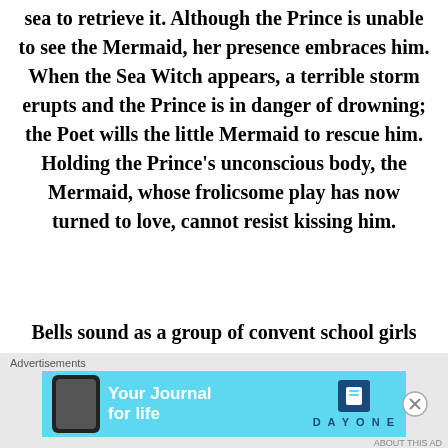sea to retrieve it. Although the Prince is unable to see the Mermaid, her presence embraces him. When the Sea Witch appears, a terrible storm erupts and the Prince is in danger of drowning; the Poet wills the little Mermaid to rescue him. Holding the Prince's unconscious body, the Mermaid, whose frolicsome play has now turned to love, cannot resist kissing him.
Bells sound as a group of convent school girls arrive at the seashore. One of the girls, a Princess-looking very much like Henriette-discovers the Prince. She tentatively wakes him. Believing the Princess to be the one who saved him, the Prince seems to fall in love
Advertisements
[Figure (infographic): Advertisement banner for Day One app: 'Your Journal for life' on a light blue background with a phone mockup and book icon logo]